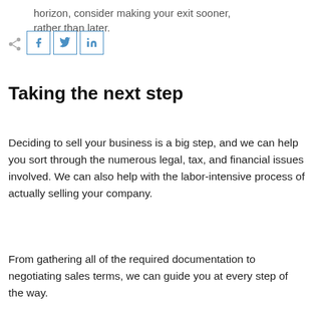horizon, consider making your exit sooner, rather than later.
Taking the next step
Deciding to sell your business is a big step, and we can help you sort through the numerous legal, tax, and financial issues involved. We can also help with the labor-intensive process of actually selling your company.
From gathering all of the required documentation to negotiating sales terms, we can guide you at every step of the way.